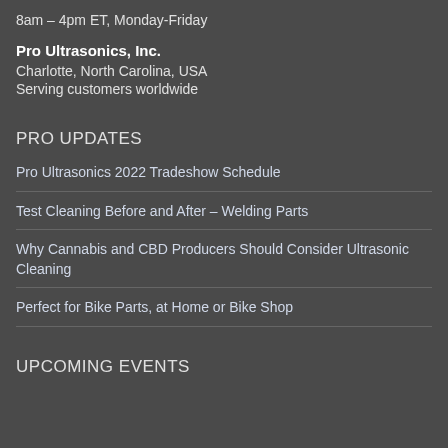8am – 4pm ET, Monday-Friday
Pro Ultrasonics, Inc.
Charlotte, North Carolina, USA
Serving customers worldwide
PRO UPDATES
Pro Ultrasonics 2022 Tradeshow Schedule
Test Cleaning Before and After – Welding Parts
Why Cannabis and CBD Producers Should Consider Ultrasonic Cleaning
Perfect for Bike Parts, at Home or Bike Shop
UPCOMING EVENTS